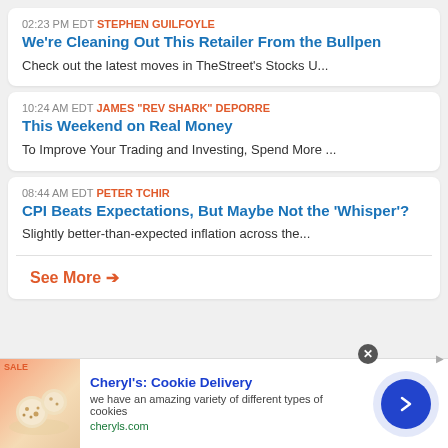02:23 PM EDT STEPHEN GUILFOYLE
We're Cleaning Out This Retailer From the Bullpen
Check out the latest moves in TheStreet's Stocks U...
10:24 AM EDT JAMES "REV SHARK" DEPORRE
This Weekend on Real Money
To Improve Your Trading and Investing, Spend More ...
08:44 AM EDT PETER TCHIR
CPI Beats Expectations, But Maybe Not the 'Whisper'?
Slightly better-than-expected inflation across the...
See More →
[Figure (infographic): Advertisement banner for Cheryl's Cookie Delivery with image of cookies, text 'we have an amazing variety of different types of cookies', URL cheryls.com, and a blue arrow button]